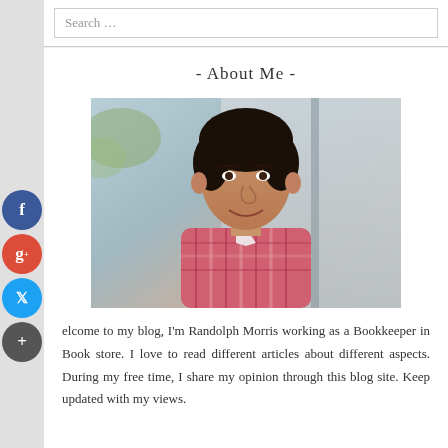Search …
- About Me -
[Figure (photo): Portrait photo of a young man smiling, wearing a plaid/checkered shirt, leaning against a wall outdoors]
Welcome to my blog, I'm Randolph Morris working as a Bookkeeper in Book store. I love to read different articles about different aspects. During my free time, I share my opinion through this blog site. Keep updated with my views.